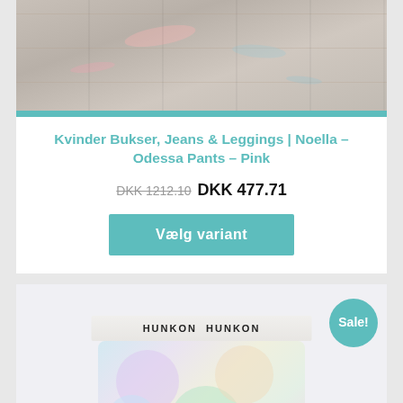[Figure (photo): Top portion of a product card showing a wooden floor background with chalk marks, partially visible.]
Kvinder Bukser, Jeans & Leggings | Noella – Odessa Pants – Pink
DKK 1212.10  DKK 477.71
Vælg variant
[Figure (photo): Second product card showing HUNKON HUNKON branded pastel tie-dye leggings/shorts with Sale! badge.]